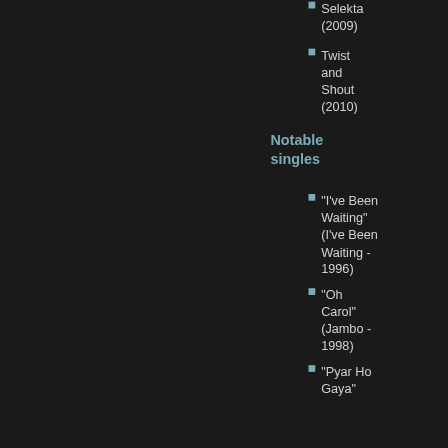Selekta (2009)
Twist and Shout (2010)
Notable singles
"I've Been Waiting" (I've Been Waiting - 1996)
"Oh Carol" (Jambo - 1998)
"Pyar Ho Gaya"